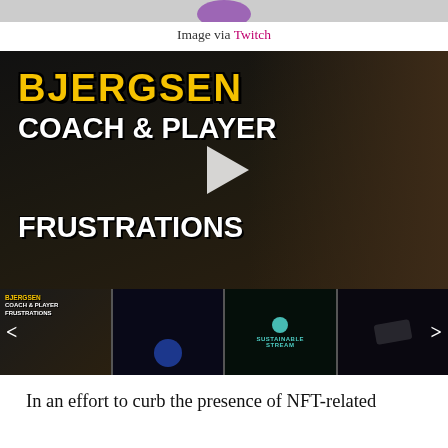[Figure (screenshot): Top stub showing partial purple/violet icon at top of page]
Image via Twitch
[Figure (screenshot): Video thumbnail showing Bjergsen Coach & Player Frustrations YouTube/stream video with play button, yellow BJERGSEN text and white COACH & PLAYER FRUSTRATIONS text over bearded man image, with row of 4 smaller video thumbnails below]
In an effort to curb the presence of NFT-related